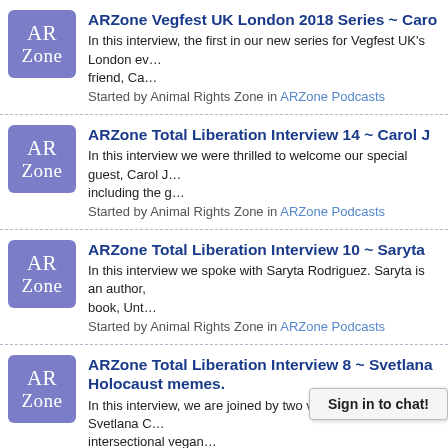ARZone Vegfest UK London 2018 Series ~ Caro... In this interview, the first in our new series for Vegfest UK's London ev… friend, Ca… Started by Animal Rights Zone in ARZone Podcasts
ARZone Total Liberation Interview 14 ~ Carol J… In this interview we were thrilled to welcome our special guest, Carol J… including the g… Started by Animal Rights Zone in ARZone Podcasts
ARZone Total Liberation Interview 10 ~ Saryta… In this interview we spoke with Saryta Rodriguez. Saryta is an author… book, Unt… Started by Animal Rights Zone in ARZone Podcasts
ARZone Total Liberation Interview 8 ~ Svetlana… Holocaust memes. In this interview, we are joined by two very special guests, Svetlana C… intersectional vegan… Started by Animal Rights Zone in ARZone Podcasts
ARZone Total Liberation Interview 6 ~ Dr. Case… In this interview we welcomed back Dr. Casey Taft to ARZone. Casey… how we respond to tha…